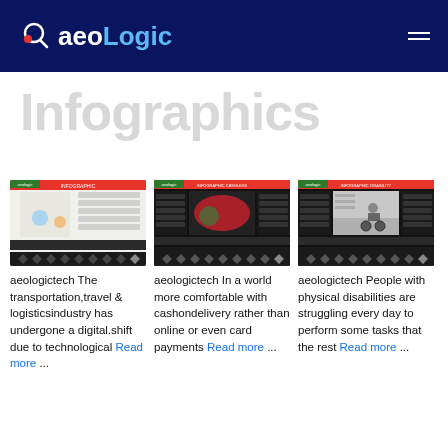AeoLogic
Infographics
[Figure (screenshot): Infographic thumbnail about transportation, travel and logistics industry digital shift]
aeologictech The transportation,travel & logisticsindustry has undergone a digital.shift due to technological Read more ...
[Figure (screenshot): Infographic thumbnail about cashondelivery vs online or card payments]
aeologictech In a world more comfortable with cashondelivery rather than online or even card payments Read more ...
[Figure (screenshot): Infographic thumbnail about people with physical disabilities]
aeologictech People with physical disabilities are struggling every day to perform some tasks that the rest Read more ... ...